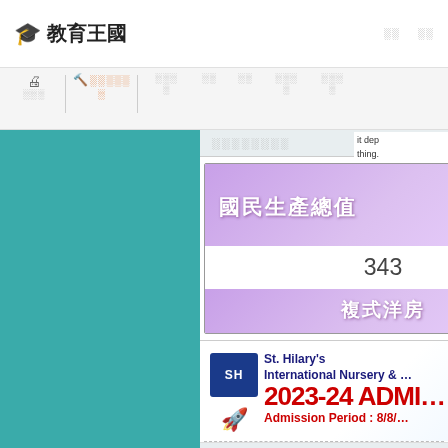🎓 教育王國
░░░ | ▲ ░░░░░ | ░░░░ ░░ ░░ ░░░░ ░░░░
░░░░░░░░
[Figure (illustration): Card with Chinese text 國民生產總值 (GNP/Gross National Product) with number 343 and subtitle 複式洋房 (duplex/villa), purple gradient background with house illustration]
[Figure (illustration): St. Hilary's International Nursery advertisement banner: 2023-24 ADMISSION, Admission Period: 8/8/..., with SH logo, rocket and character icons]
< ░░░░░ ░░░░░ >
發帖 ▼